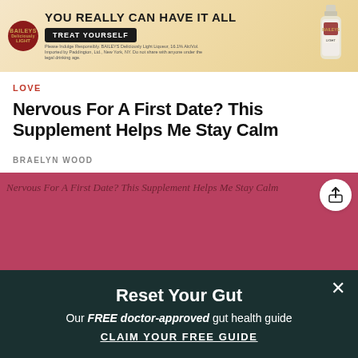[Figure (advertisement): Baileys Deliciously Light advertisement banner with bottle image, headline 'YOU REALLY CAN HAVE IT ALL', button 'TREAT YOURSELF', and fine print about responsible drinking.]
LOVE
Nervous For A First Date? This Supplement Helps Me Stay Calm
BRAELYN WOOD
[Figure (photo): Article hero image with rose/crimson background. Alt text visible: 'Nervous For A First Date? This Supplement Helps Me Stay Calm'. Share icon in top right corner.]
Reset Your Gut
Our FREE doctor-approved gut health guide
CLAIM YOUR FREE GUIDE